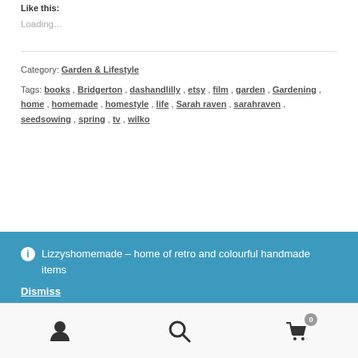Like this:
Loading...
Category: Garden & Lifestyle
Tags: books, Bridgerton, dashandlilly, etsy, film, garden, Gardening, home, homemade, homestyle, life, Sarah raven, sarahraven, seedsowing, spring, tv, wilko
Lizzyshomemade – home of retro and colourful handmade items
Dismiss
User / Search / Cart (0)